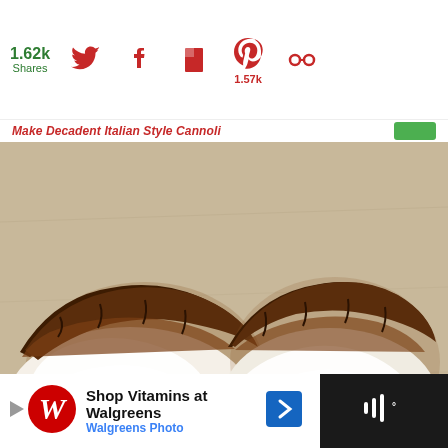1.62k Shares
1.57k
[Figure (photo): Four chocolate and cream frosted pastries (black and white cookies or similar) arranged on a parchment-lined baking sheet, viewed from above. Each pastry has a white cream frosting on one half and dark chocolate frosting on the other.]
48
WHAT'S NEXT → Italian Butter Cookie Recipe
Shop Vitamins at Walgreens Walgreens Photo